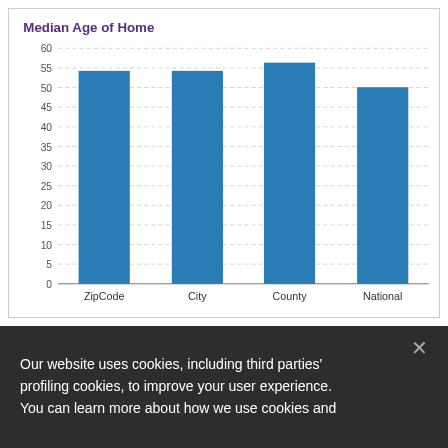[Figure (bar-chart): Median Age of Home]
Our website uses cookies, including third parties' profiling cookies, to improve your user experience. You can learn more about how we use cookies and